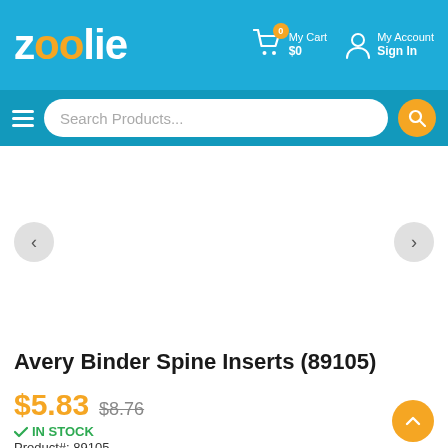zoolie – My Cart $0 | My Account Sign In
Search Products...
[Figure (screenshot): White product image area with left and right navigation arrows]
Avery Binder Spine Inserts (89105)
$5.83 $8.76
✓ IN STOCK
Product#: 89105